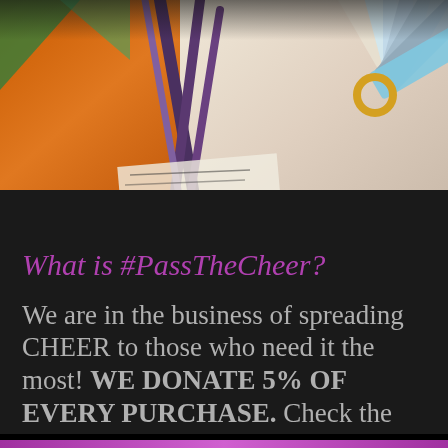[Figure (photo): Photo of design tools including purple compass/drafting tools, pencils, and a fan of color swatches/cards against an orange and light background]
What is #PassTheCheer?
We are in the business of spreading CHEER to those who need it the most! WE DONATE 5% OF EVERY PURCHASE. Check the